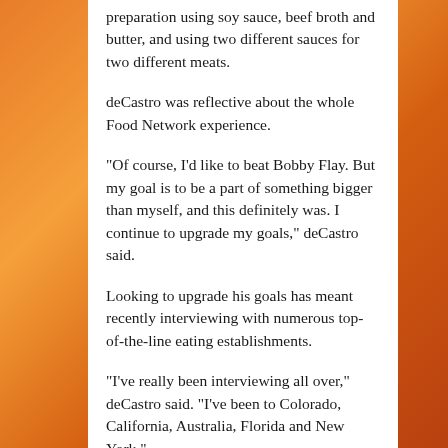preparation using soy sauce, beef broth and butter, and using two different sauces for two different meats.
deCastro was reflective about the whole Food Network experience.
“Of course, I’d like to beat Bobby Flay. But my goal is to be a part of something bigger than myself, and this definitely was. I continue to upgrade my goals,” deCastro said.
Looking to upgrade his goals has meant recently interviewing with numerous top-of-the-line eating establishments.
“I’ve really been interviewing all over,” deCastro said. “I’ve been to Colorado, California, Australia, Florida and New York.”
deCastro does have a preferred employer.